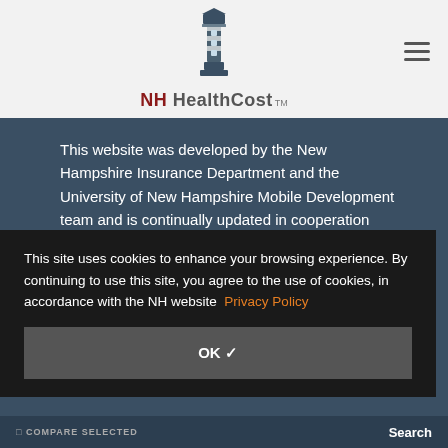[Figure (logo): NH HealthCost logo with lighthouse icon and text]
This website was developed by the New Hampshire Insurance Department and the University of New Hampshire Mobile Development team and is continually updated in cooperation with
This site uses cookies to enhance your browsing experience. By continuing to use this site, you agree to the use of cookies, in accordance with the NH website Privacy Policy
OK ✓
COMPARE SELECTED
Search